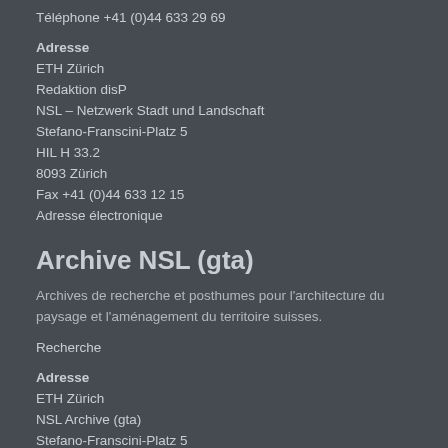Téléphone +41 (0)44 633 29 69
Adresse
ETH Zürich
Redaktion disP
NSL – Netzwerk Stadt und Landschaft
Stefano-Franscini-Platz 5
HIL H 33.2
8093 Zürich
Fax +41 (0)44 633 12 15
Adresse électronique
Archive NSL (gta)
Archives de recherche et posthumes pour l'architecture du paysage et l'aménagement du territoire suisses.
Recherche
Adresse
ETH Zürich
NSL Archive (gta)
Stefano-Franscini-Platz 5
HIL C 65.2
CH-8093 Zurich